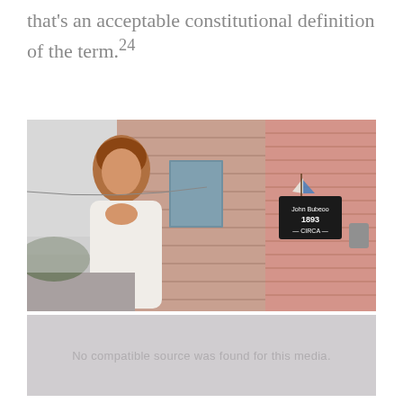that's an acceptable constitutional definition of the term.24
[Figure (photo): Woman in white dress standing outside a pink-sided building near a sign reading 'John Buboo 1893 CIRCA', with a sailboat decoration visible]
No compatible source was found for this media.